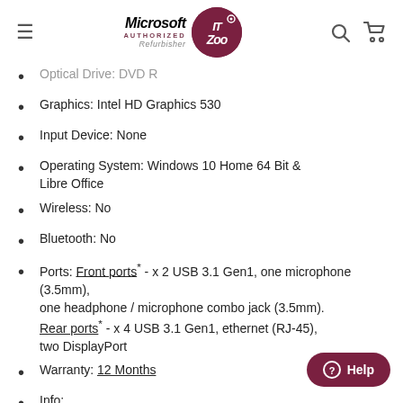Microsoft Authorized Refurbisher | IT Zoo
Optical Drive: DVD R
Graphics: Intel HD Graphics 530
Input Device: None
Operating System: Windows 10 Home 64 Bit & Libre Office
Wireless: No
Bluetooth: No
Ports: Front ports* - x 2 USB 3.1 Gen1, one microphone (3.5mm), one headphone / microphone combo jack (3.5mm). Rear ports* - x 4 USB 3.1 Gen1, ethernet (RJ-45), two DisplayPort
Warranty: 12 Months
Info: